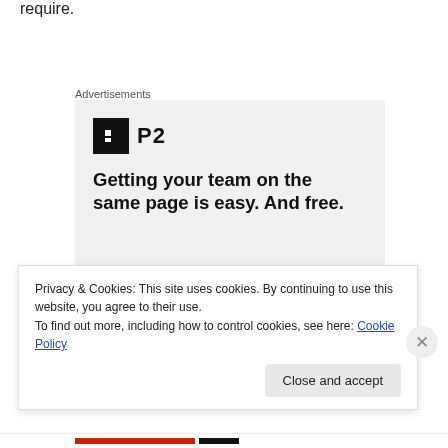require.
Advertisements
[Figure (screenshot): Advertisement for P2 product. Shows P2 logo (black square icon with white square cutout and text 'P2'), headline text 'Getting your team on the same page is easy. And free.' and circular avatar images of people at bottom.]
Privacy & Cookies: This site uses cookies. By continuing to use this website, you agree to their use.
To find out more, including how to control cookies, see here: Cookie Policy
Close and accept